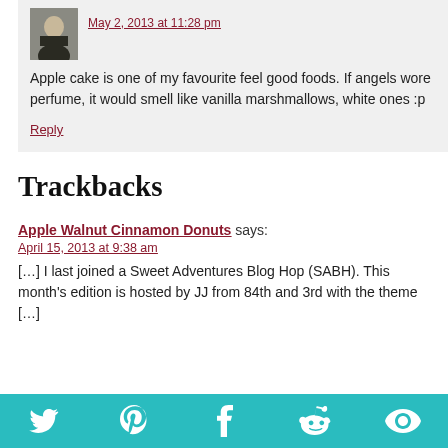May 2, 2013 at 11:28 pm
Apple cake is one of my favourite feel good foods. If angels wore perfume, it would smell like vanilla marshmallows, white ones :p
Reply
Trackbacks
Apple Walnut Cinnamon Donuts says:
April 15, 2013 at 9:38 am
[…] I last joined a Sweet Adventures Blog Hop (SABH). This month's edition is hosted by JJ from 84th and 3rd with the theme […]